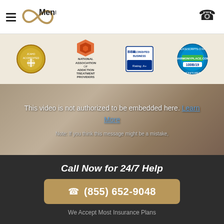☰ Menu
[Figure (logo): Infinity symbol logo in gold with hamburger menu icon and 'Menu' text on left; phone icon on right]
[Figure (infographic): Accreditation badges: JCAHO Accredited gold seal, National Association of Addiction Treatment Providers logo, BBB Accredited Business badge, ExcecScripts.com / HarmonyPlace.com 100B/19 monitored badge]
[Figure (screenshot): Video embed area with blurred background room photo. Text: 'This video is not authorized to be embedded here. Learn More'. Note: 'Note: If you think this message might be a mistake...']
This video is not authorized to be embedded here. Learn More
Note: If you think this message might be a mistake
Call Now for 24/7 Help
(855) 652-9048
We Accept Most Insurance Plans